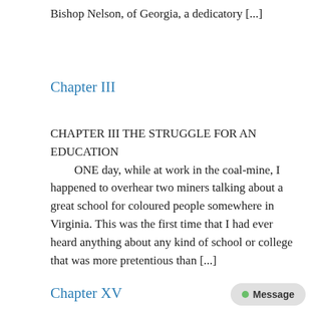Bishop Nelson, of Georgia, a dedicatory [...]
Chapter III
CHAPTER III THE STRUGGLE FOR AN EDUCATION
        ONE day, while at work in the coal-mine, I happened to overhear two miners talking about a great school for coloured people somewhere in Virginia. This was the first time that I had ever heard anything about any kind of school or college that was more pretentious than [...]
Chapter XV